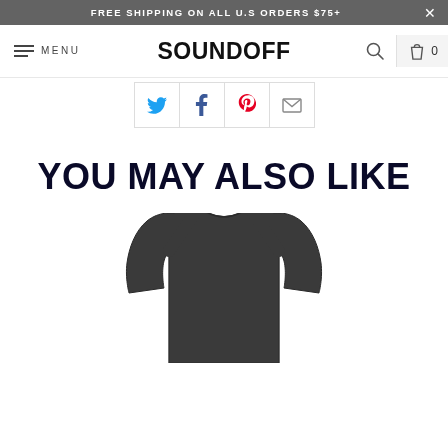FREE SHIPPING ON ALL U.S ORDERS $75+
[Figure (screenshot): Website navigation bar with hamburger menu, MENU text, SOUNDOFF logo, search icon, and shopping bag with count 0]
[Figure (infographic): Social sharing icons row: Twitter (blue bird), Facebook (blue f), Pinterest (red P), and email envelope icon, each in a bordered box]
YOU MAY ALSO LIKE
[Figure (photo): Partial view of a dark gray/charcoal sleeveless tank top with scoop neck, cut off at bottom of page]